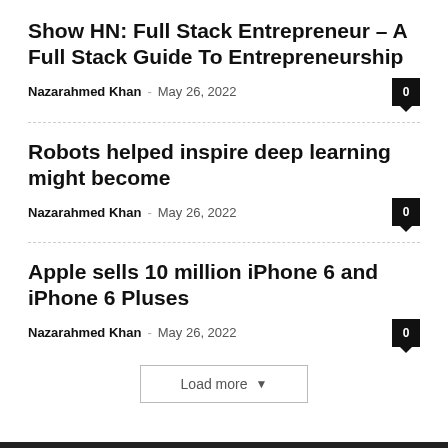Show HN: Full Stack Entrepreneur – A Full Stack Guide To Entrepreneurship
Nazarahmed Khan · May 26, 2022
Robots helped inspire deep learning might become
Nazarahmed Khan · May 26, 2022
Apple sells 10 million iPhone 6 and iPhone 6 Pluses
Nazarahmed Khan · May 26, 2022
Load more
FOLLOW US ON INSTAGRAM
@MANIA4TECH